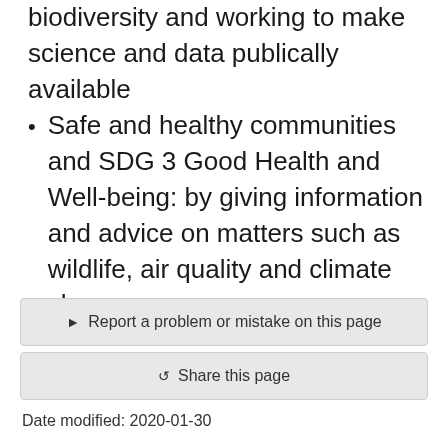biodiversity and working to make science and data publically available
Safe and healthy communities and SDG 3 Good Health and Well-being: by giving information and advice on matters such as wildlife, air quality and climate change
▶ Report a problem or mistake on this page
↻ Share this page
Date modified: 2020-01-30